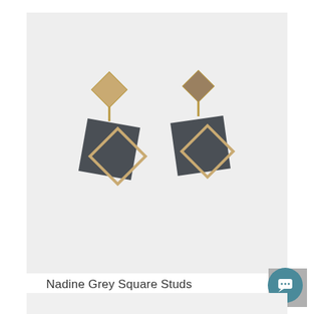[Figure (photo): A pair of Nadine Grey Square Studs earrings on a light grey background. Each earring has a small gold diamond-shaped stud at the top, from which hangs a dark grey/charcoal square charm, overlaid with a gold diamond-shaped open frame.]
Nadine Grey Square Studs
S$8.90
[Figure (illustration): Scroll-to-top button: light grey square with a white upward chevron arrow.]
[Figure (illustration): Chat button: teal/dark cyan circular button with a white speech bubble icon.]
[Figure (photo): Partial view of another product image below.]